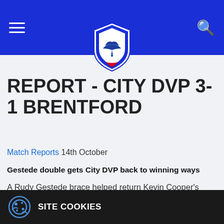Cardiff City FC navigation header
[Figure (logo): Cardiff City FC crest/badge logo: blue shield with white bird]
REPORT - CITY DVP 3-1 BRENTFORD
Match Reports 14th October
Gestede double gets City DVP back to winning ways
A Rudy Gestede brace helped return Kevin Cooper's Development side back to winning ways as they secured a 3-1 win over Brentford at Cardiff City
SITE COOKIES